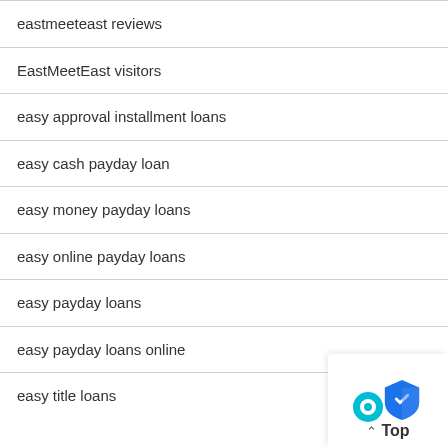eastmeeteast reviews
EastMeetEast visitors
easy approval installment loans
easy cash payday loan
easy money payday loans
easy online payday loans
easy payday loans
easy payday loans online
easy title loans